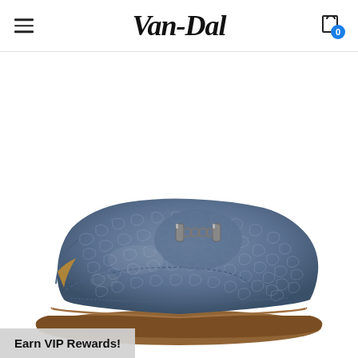Van-Dal
[Figure (photo): A blue patterned leather loafer/moccasin shoe with a metal bit buckle and brown rubber sole, shown in side profile on white background. Van-Dal brand product photo.]
Earn VIP Rewards!